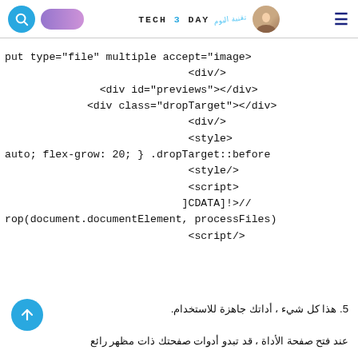Tech 3 Day — website header with search, logo, and menu
put type="file" multiple accept="image>
                             <div/>
               <div id="previews"></div>
             <div class="dropTarget"></div>
                             <div/>
                             <style>
auto; flex-grow: 20; } .dropTarget::before
                             <style/>
                             <script>
                            ]CDATA]!>//
rop(document.documentElement, processFiles)
                             <script/>
5. هذا كل شيء ، أداتك جاهزة للاستخدام.
عند فتح صفحة الأداة ، قد تبدو أدوات صفحتك ذات مظهر رائع